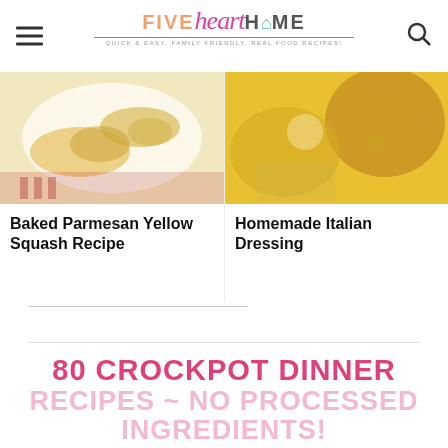FIVE heart HOME — Quick & Easy, Family Friendly, Real Food Recipes!
[Figure (photo): Baked Parmesan Yellow Squash on a white plate with a red striped cloth]
Baked Parmesan Yellow Squash Recipe
[Figure (photo): Homemade Italian Dressing in a glass jar with spices visible]
Homemade Italian Dressing
80 CROCKPOT DINNER RECIPES ~ NO PROCESSED INGREDIENTS!